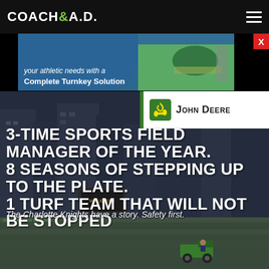COACH & A.D.
[Figure (photo): Advertisement banner showing aerial view of a sports field with text 'your athletic needs with a Complete Turnkey Solution']
[Figure (logo): John Deere logo with deer emblem and text 'John Deere']
[Figure (photo): Background photo of a baseball stadium with stands and a John Deere vehicle on the field]
3-TIME SPORTS FIELD MANAGER OF THE YEAR.
8 SEASONS OF STEPPING UP TO THE PLATE.
1 TURF TEAM THAT WILL NOT BE STOPPED
The Charlotte Knights have a story. Safety first.